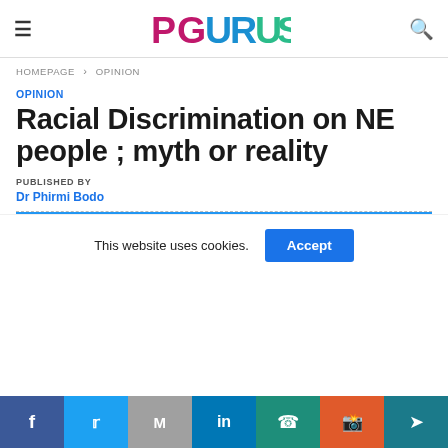PGURUS — site header with hamburger menu, logo, and search icon
HOMEPAGE › OPINION
OPINION
Racial Discrimination on NE people ; myth or reality
PUBLISHED BY
Dr Phirmi Bodo
This website uses cookies.  Accept
Social share bar: Facebook, Twitter, Gmail, LinkedIn, WhatsApp, Reddit, Telegram